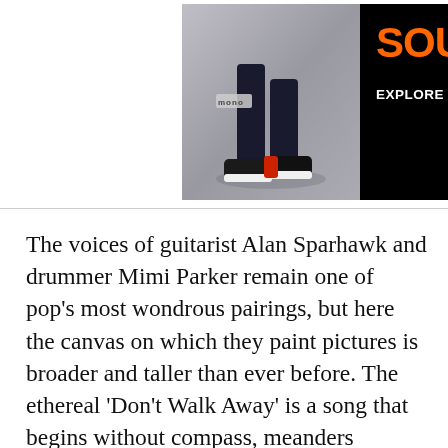[Figure (photo): Advertisement banner showing a person wearing dark clothing and sneakers on the left (photo), with a black panel on the right showing 'SOUND' in orange bold text and 'EXPLORE NOW ▶' in white text below it. The brand 'mono' appears on the left photo section.]
The voices of guitarist Alan Sparhawk and drummer Mimi Parker remain one of pop's most wondrous pairings, but here the canvas on which they paint pictures is broader and taller than ever before. The ethereal 'Don't Walk Away' is a song that begins without compass, meanders throughout, and ends up in a place that is both surprising and uncharted. 'There Is A Comma After Still' is even more esoteric, sounding not unlike a radio signal intercepted from a